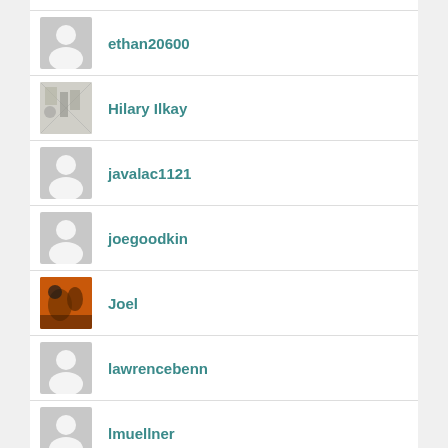ethan20600
Hilary Ilkay
javalac1121
joegoodkin
Joel
lawrencebenn
lmuellner